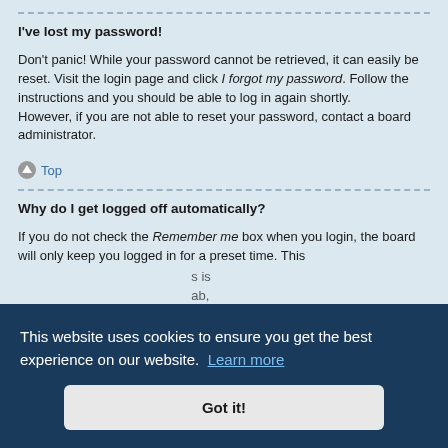I've lost my password!
Don't panic! While your password cannot be retrieved, it can easily be reset. Visit the login page and click I forgot my password. Follow the instructions and you should be able to log in again shortly.
However, if you are not able to reset your password, contact a board administrator.
Top
Why do I get logged off automatically?
If you do not check the Remember me box when you login, the board will only keep you logged in for a preset time. This
This website uses cookies to ensure you get the best experience on our website. Learn more
Got it!